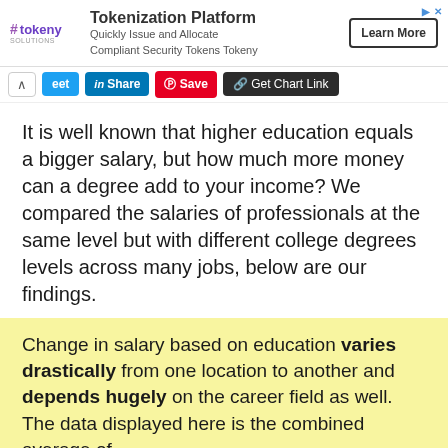[Figure (other): Advertisement banner for Tokeny tokenization platform with logo, text, and Learn More button]
[Figure (other): Social sharing toolbar with tweet, LinkedIn share, Pinterest save, and Get Chart Link buttons]
It is well known that higher education equals a bigger salary, but how much more money can a degree add to your income? We compared the salaries of professionals at the same level but with different college degrees levels across many jobs, below are our findings.
Change in salary based on education varies drastically from one location to another and depends hugely on the career field as well. The data displayed here is the combined average of